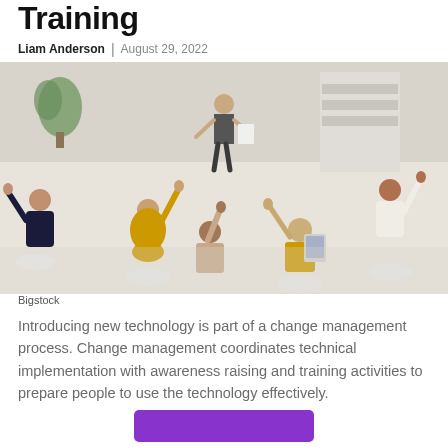Training
Liam Anderson | August 29, 2022
[Figure (photo): Overhead view of a training session with people seated in a circle raising their hands, one person standing presenting]
Bigstock
Introducing new technology is part of a change management process. Change management coordinates technical implementation with awareness raising and training activities to prepare people to use the technology effectively.